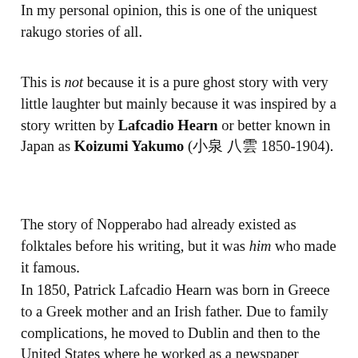In my personal opinion, this is one of the uniquest rakugo stories of all.
This is not because it is a pure ghost story with very little laughter but mainly because it was inspired by a story written by Lafcadio Hearn or better known in Japan as Koizumi Yakumo (小泉 八雲 1850-1904).
The story of Nopperabo had already existed as folktales before his writing, but it was him who made it famous.
In 1850, Patrick Lafcadio Hearn was born in Greece to a Greek mother and an Irish father. Due to family complications, he moved to Dublin and then to the United States where he worked as a newspaper reporter.